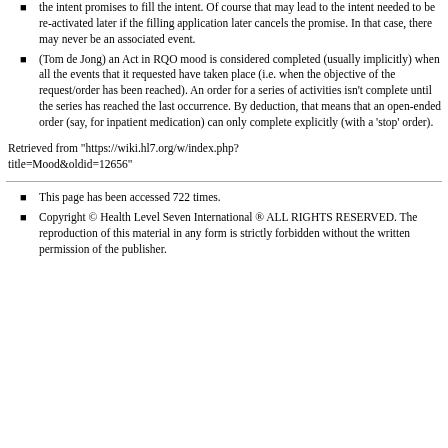the intent promises to fill the intent. Of course that may lead to the intent needed to be re-activated later if the filling application later cancels the promise. In that case, there may never be an associated event.
(Tom de Jong) an Act in RQO mood is considered completed (usually implicitly) when all the events that it requested have taken place (i.e. when the objective of the request/order has been reached). An order for a series of activities isn't complete until the series has reached the last occurrence. By deduction, that means that an open-ended order (say, for inpatient medication) can only complete explicitly (with a 'stop' order).
Retrieved from "https://wiki.hl7.org/w/index.php?title=Mood&oldid=12656"
This page has been accessed 722 times.
Copyright © Health Level Seven International ® ALL RIGHTS RESERVED. The reproduction of this material in any form is strictly forbidden without the written permission of the publisher.